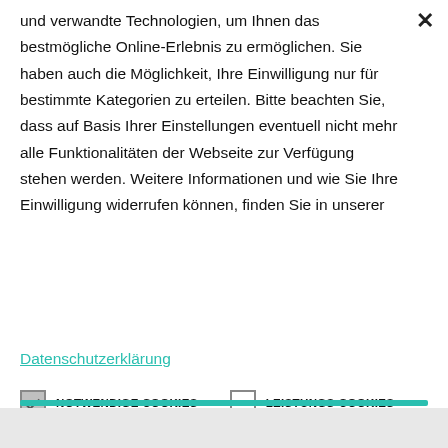und verwandte Technologien, um Ihnen das bestmögliche Online-Erlebnis zu ermöglichen. Sie haben auch die Möglichkeit, Ihre Einwilligung nur für bestimmte Kategorien zu erteilen. Bitte beachten Sie, dass auf Basis Ihrer Einstellungen eventuell nicht mehr alle Funktionalitäten der Webseite zur Verfügung stehen werden. Weitere Informationen und wie Sie Ihre Einwilligung widerrufen können, finden Sie in unserer
Datenschutzerklärung
NOTWENDIGE COOKIES
LEISTUNGS-COOKIES
TARGETING-COOKIES
MEHR INFORMATIONEN